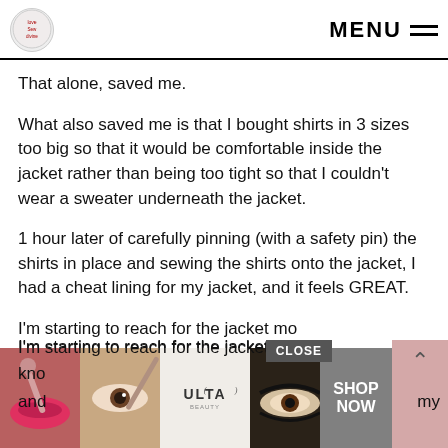MENU
That alone, saved me.
What also saved me is that I bought shirts in 3 sizes too big so that it would be comfortable inside the jacket rather than being too tight so that I couldn't wear a sweater underneath the jacket.
1 hour later of carefully pinning (with a safety pin) the shirts in place and sewing the shirts onto the jacket, I had a cheat lining for my jacket, and it feels GREAT.
I'm starting to reach for the jacket mo... kno... and... my
[Figure (photo): Advertisement banner at bottom showing beauty/makeup images (lips with makeup brush, eye with brush, Ulta Beauty logo, eye with dramatic makeup) with CLOSE button, SHOP NOW button, and up-arrow navigation]